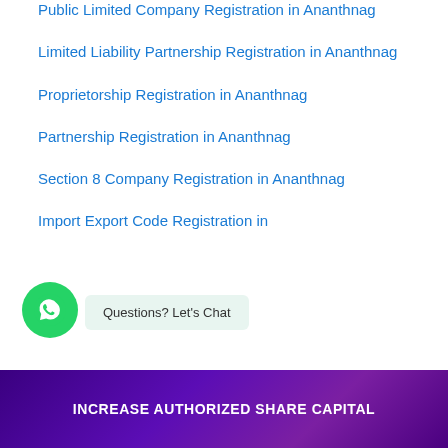Public Limited Company Registration in Ananthnag
Limited Liability Partnership Registration in Ananthnag
Proprietorship Registration in Ananthnag
Partnership Registration in Ananthnag
Section 8 Company Registration in Ananthnag
Import Export Code Registration in
INCREASE AUTHORIZED SHARE CAPITAL